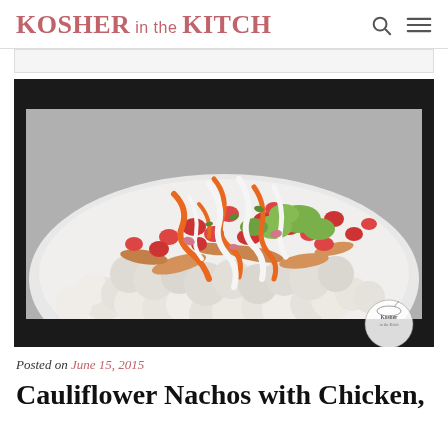KOSHER in the KITCH
[Figure (photo): A white bowl filled with cauliflower nachos topped with shredded chicken, pico de gallo, guacamole, orange sriracha sauce, and white sour cream drizzle. A Kosher in the Kitch watermark logo is visible in the bottom right corner.]
Posted on June 15, 2015
Cauliflower Nachos with Chicken,